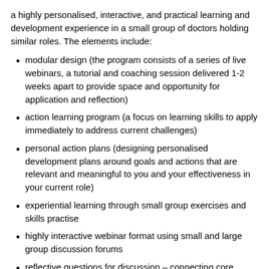a highly personalised, interactive, and practical learning and development experience in a small group of doctors holding similar roles. The elements include:
modular design (the program consists of a series of live webinars, a tutorial and coaching session delivered 1-2 weeks apart to provide space and opportunity for application and reflection)
action learning program (a focus on learning skills to apply immediately to address current challenges)
personal action plans (designing personalised development plans around goals and actions that are relevant and meaningful to you and your effectiveness in your current role)
experiential learning through small group exercises and skills practise
highly interactive webinar format using small and large group discussion forums
reflective questions for discussion – connecting core content in the program (central leadership concepts and skills) with current